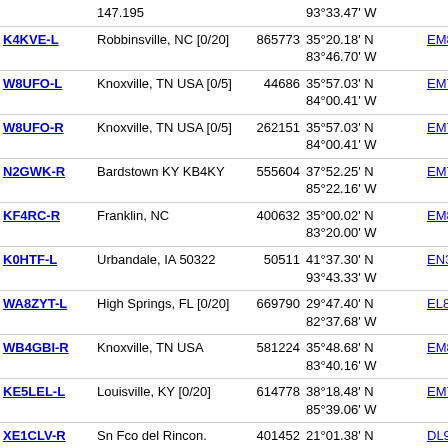| Callsign | Location | Node | Coordinates | Grid | Dist |
| --- | --- | --- | --- | --- | --- |
|  | 147.195 |  | 93°33.47' W |  |  |
| K4KVE-L | Robbinsville, NC [0/20] | 865773 | 35°20.18' N 83°46.70' W | EM85ci | 752.0 |
| W8UFO-L | Knoxville, TN USA [0/5] | 44686 | 35°57.03' N 84°00.41' W | EM75xw | 757.7 22 |
| W8UFO-R | Knoxville, TN USA [0/5] | 262151 | 35°57.03' N 84°00.41' W | EM75xw | 757.7 |
| N2GWK-R | Bardstown KY KB4KY | 555604 | 37°52.25' N 85°22.16' W | EM77hu | 764.3 14 |
| KF4RC-R | Franklin, NC | 400632 | 35°00.02' N 83°20.00' W | EM85ia | 767.0 147 |
| K0HTF-L | Urbandale, IA 50322 | 50511 | 41°37.30' N 93°43.33' W | EN31do | 768.2 44 |
| WA8ZYT-L | High Springs, FL [0/20] | 669790 | 29°47.40' N 82°37.68' W | EL89qs | 768.7 |
| WB4GBI-R | Knoxville, TN USA | 581224 | 35°48.68' N 83°40.16' W | EM85dt | 770.7 44 |
| KE5LEL-L | Louisville, KY [0/20] | 614778 | 38°18.48' N 85°39.06' W | EM78eh | 771.6 |
| XE1CLV-R | Sn Fco del Rincon. Gto. | 401452 | 21°01.38' N 101°51.90' W | DL91ba | 773.1 14 |
| K4LKL-R | Lakeland, FL [0/20] | 146685 | 28°02.93' N 82°56.50' W | EL88mb | 774.8 |
| KE4UHF-R | Higgston, GA | 872335 | 32°12.49' N 82°24.34' W | EM82te | 778.0 44 |
| KD0NEB-R | Perry, IA [0/20] | 710459 | 41°47.89' N | EN21xt | 778.1 |